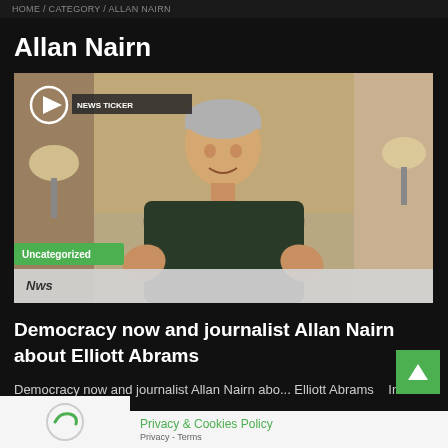HOME / CATEGORY / ALLAN NAIRN
Allan Nairn
[Figure (screenshot): Video thumbnail showing a man with grey hair speaking with hands raised, with a play button overlay, 'Uncategorized' green tag, and a TV news lower-third bar]
Democracy now and journalist Allan Nairn about Elliott Abrams
Democracy now and journalist Allan Nairn about Elliott Abrams    In ar...    ...ple...